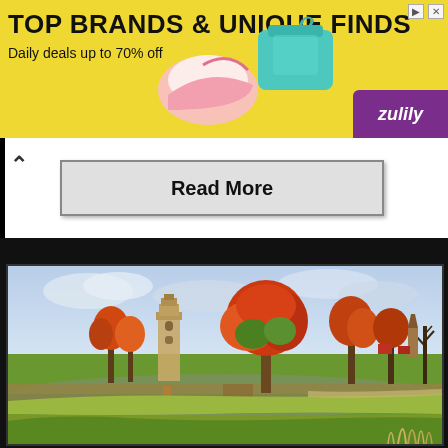[Figure (infographic): Zulily advertisement banner: yellow background with bold text 'TOP BRANDS & UNIQUE FINDS', subtitle 'Daily deals up to 70% off', product images (shoe and teal bag) on the right, purple Zulily logo bottom right, close/arrow icons top right.]
Read More
[Figure (photo): Outdoor autumn landscape photo showing a park with colorful fall trees (red, orange, green), a stone bell tower on the left, a canal or river reflecting the trees, green grass, and a church spire visible on the right side against a partly cloudy sky.]